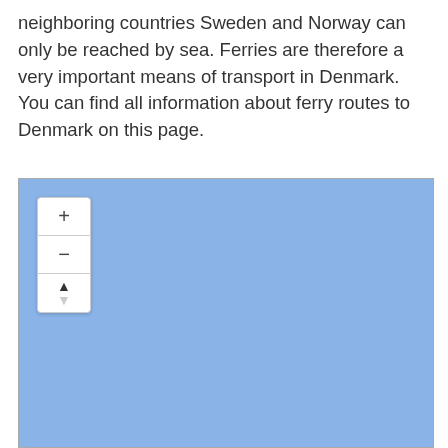neighboring countries Sweden and Norway can only be reached by sea. Ferries are therefore a very important means of transport in Denmark. You can find all information about ferry routes to Denmark on this page.
[Figure (map): Interactive map widget showing a blue-colored map area with zoom controls (plus, minus, and compass/location button) in the upper left corner.]